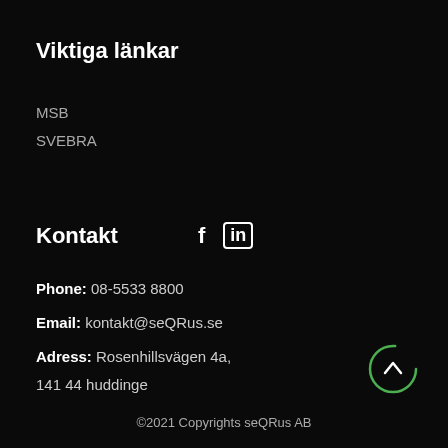Viktiga länkar
MSB
SVEBRA
Kontakt
Phone: 08-5533 8800
Email: kontakt@seQRus.se
Adress: Rosenhillsvägen 4a, 141 44 huddinge
[Figure (illustration): Green circular scroll-to-top button with upward chevron arrow]
©2021 Copyrights seQRus AB